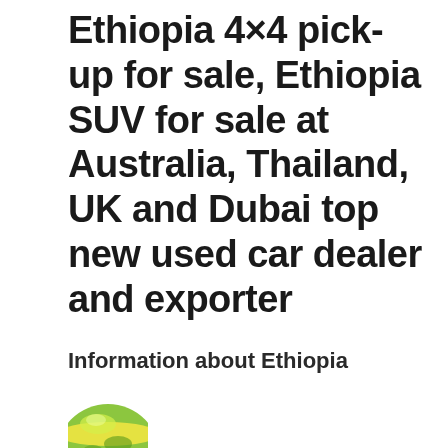Ethiopia 4×4 pick-up for sale, Ethiopia SUV for sale at Australia, Thailand, UK and Dubai top new used car dealer and exporter
Information about Ethiopia
[Figure (illustration): Globe icon showing green and yellow colors, partially visible at bottom of page]